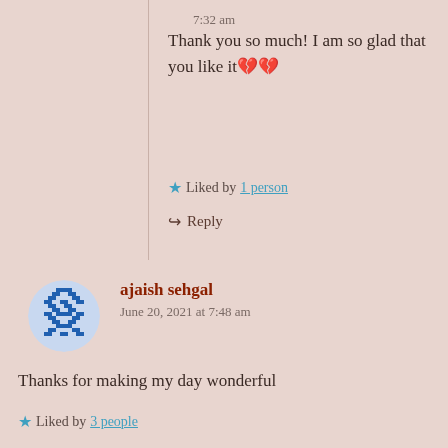7:32 am
Thank you so much! I am so glad that you like it 💔💔
★ Liked by 1 person
↪ Reply
ajaish sehgal
June 20, 2021 at 7:48 am
Thanks for making my day wonderful
★ Liked by 3 people